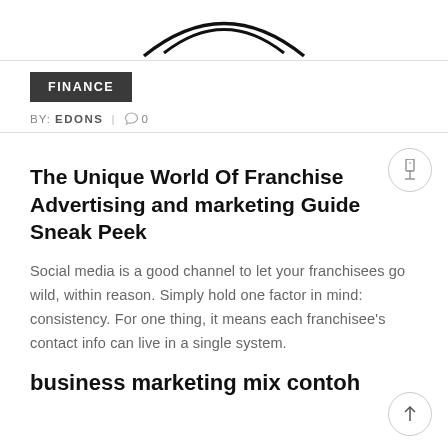[Figure (logo): Partial logo image at top of page, showing curved arc shapes in black on white background]
FINANCE
BY: EDONS | 0
The Unique World Of Franchise Advertising and marketing Guide Sneak Peek
Social media is a good channel to let your franchisees go wild, within reason. Simply hold one factor in mind: consistency. For one thing, it means each franchisee's contact info can live in a single system.
business marketing mix contoh